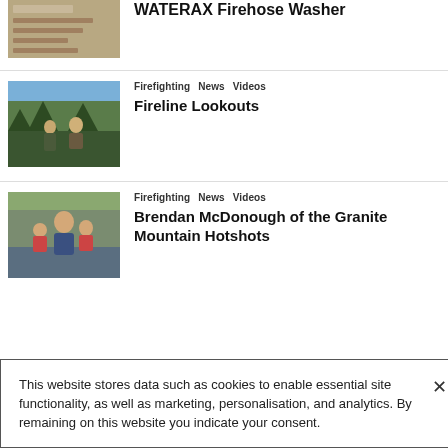[Figure (photo): Partial thumbnail image of firefighting equipment (WATERAX Firehose Washer) – top cut off]
WATERAX Firehose Washer
[Figure (photo): Two firefighters resting on rocks outdoors in forest setting]
Firefighting  News  Videos
Fireline Lookouts
[Figure (photo): Man with two young children sitting outdoors]
Firefighting  News  Videos
Brendan McDonough of the Granite Mountain Hotshots
This website stores data such as cookies to enable essential site functionality, as well as marketing, personalisation, and analytics. By remaining on this website you indicate your consent.